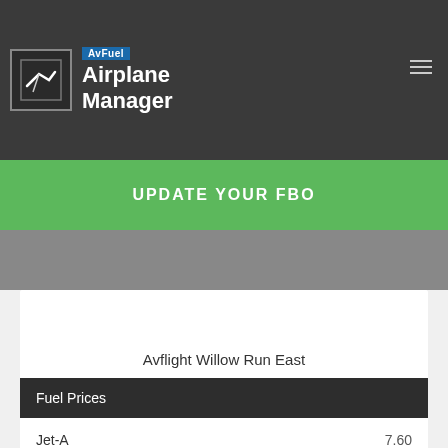AvFuel Airplane Manager
UPDATE YOUR FBO
Avflight Willow Run East
| Fuel Prices |  |
| --- | --- |
| Jet-A | 7.60 |
| 100LL | 7.30 |
| AM Preferred Discount | No |
| Ramp Fee waived | No |